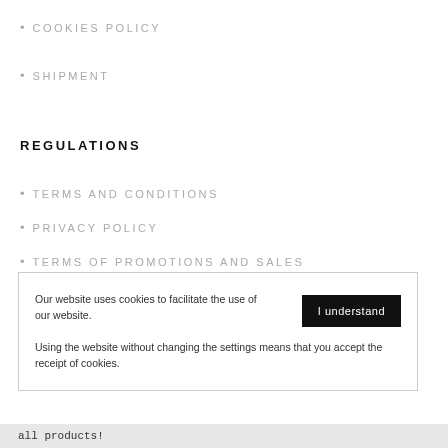COOKIES POLICY
SHIPMENT
REGULATIONS
TERMS AND CONDITIONS
PRIVACY POLICY
TERMS OF PROMOTIONS AND SALES
Our website uses cookies to facilitate the use of our website.
Using the website without changing the settings means that you accept the receipt of cookies.
all products!